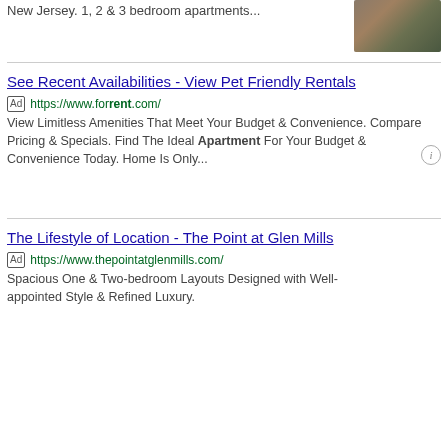New Jersey. 1, 2 & 3 bedroom apartments...
[Figure (photo): Apartment building exterior photo]
See Recent Availabilities - View Pet Friendly Rentals
Ad https://www.forrent.com/
View Limitless Amenities That Meet Your Budget & Convenience. Compare Pricing & Specials. Find The Ideal Apartment For Your Budget & Convenience Today. Home Is Only...
The Lifestyle of Location - The Point at Glen Mills
Ad https://www.thepointatglenmills.com/
Spacious One & Two-bedroom Layouts Designed with Well-appointed Style & Refined Luxury.
[Figure (photo): The Point at Glen Mills apartment complex exterior photo at dusk]